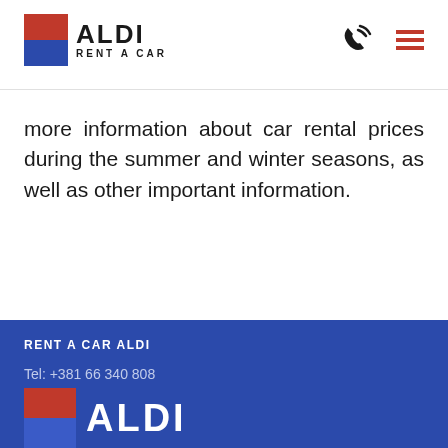[Figure (logo): ALDI RENT A CAR logo with red and blue square icon and text]
[Figure (other): Phone icon and hamburger menu icon in header]
more information about car rental prices during the summer and winter seasons, as well as other important information.
RENT A CAR ALDI
Tel: +381 66 340 808
Email: serbiarentacar@gmail.com
Surčinska 102 B, 11070 Novi Beograd
[Figure (logo): ALDI logo in white on blue background at bottom]